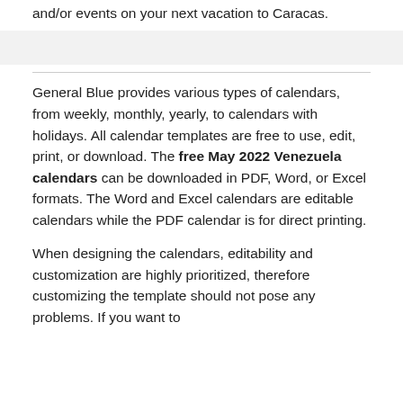and/or events on your next vacation to Caracas.
General Blue provides various types of calendars, from weekly, monthly, yearly, to calendars with holidays. All calendar templates are free to use, edit, print, or download. The free May 2022 Venezuela calendars can be downloaded in PDF, Word, or Excel formats. The Word and Excel calendars are editable calendars while the PDF calendar is for direct printing.
When designing the calendars, editability and customization are highly prioritized, therefore customizing the template should not pose any problems. If you want to